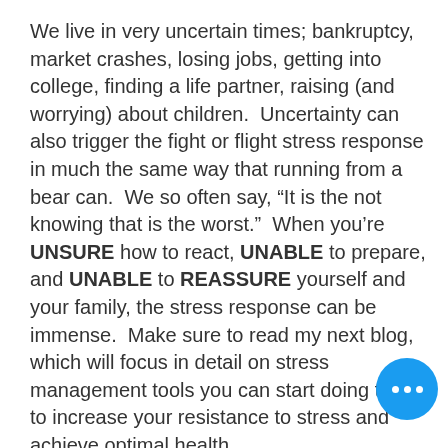We live in very uncertain times; bankruptcy, market crashes, losing jobs, getting into college, finding a life partner, raising (and worrying) about children.  Uncertainty can also trigger the fight or flight stress response in much the same way that running from a bear can.  We so often say, “It is the not knowing that is the worst.”  When you’re UNSURE how to react, UNABLE to prepare, and UNABLE to REASSURE yourself and your family, the stress response can be immense.  Make sure to read my next blog, which will focus in detail on stress management tools you can start doing today to increase your resistance to stress and achieve optimal health.